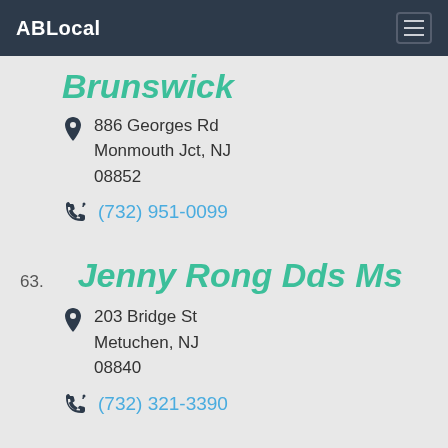ABLocal
Brunswick
886 Georges Rd
Monmouth Jct, NJ
08852
(732) 951-0099
63. Jenny Rong Dds Ms
203 Bridge St
Metuchen, NJ
08840
(732) 321-3390